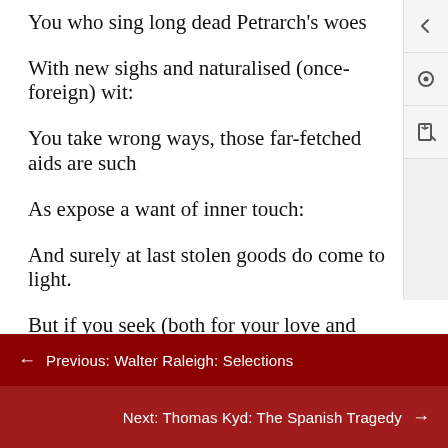You who sing long dead Petrarch's woes
With new sighs and naturalised (once-foreign) wit:
You take wrong ways, those far-fetched aids are such
As expose a want of inner touch:
And surely at last stolen goods do come to light.
But if you seek (both for your love and skill)
To nurse your name at the fullest breasts of Fame,
Gaze on Stella, and then begin descriptively to write.
Note: The sonnets of Petrarch's Canzoniere were heavily
← Previous: Walter Raleigh: Selections
Next: Thomas Kyd: The Spanish Tragedy →